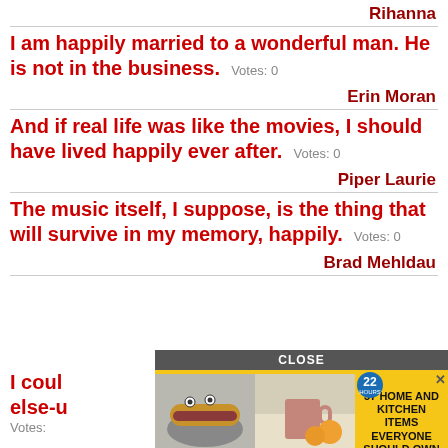Rihanna
I am happily married to a wonderful man. He is not in the business.  Votes: 0
Erin Moran
And if real life was like the movies, I should have lived happily ever after.  Votes: 0
Piper Laurie
The music itself, I suppose, is the thing that will survive in my memory, happily.  Votes: 0
Brad Mehldau
I coul[d ...] where else-u[...] Votes: [...]
[Figure (screenshot): Advertisement overlay showing '37 HOME AND KITCHEN ITEMS EVERYONE SHOULD OWN' with food/kitchen images, a CLOSE button, and a badge showing '22']